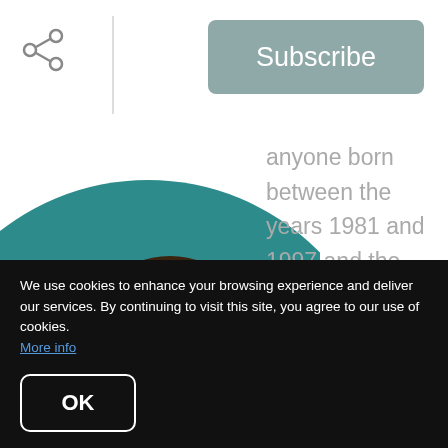Subscribe
[Figure (illustration): Three illustrated avatar figures on a teal circle background: a woman with black hair in pink top, a man with mustache in yellow shirt, and a dark-skinned man with beard in green shirt.]
anyone born between the years 1981 and 1997 and the largest majority of them will be
We use cookies to enhance your browsing experience and deliver our services. By continuing to visit this site, you agree to our use of cookies. More info
OK